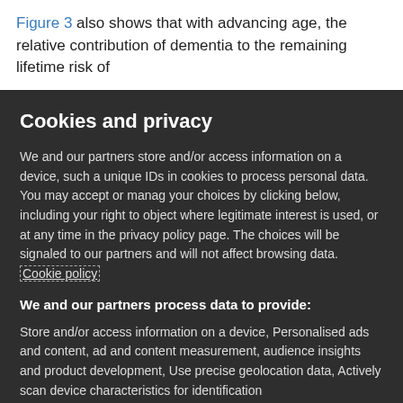Figure 3 also shows that with advancing age, the relative contribution of dementia to the remaining lifetime risk of
Cookies and privacy
We and our partners store and/or access information on a device, such as unique IDs in cookies to process personal data. You may accept or manage your choices by clicking below, including your right to object where legitimate interest is used, or at any time in the privacy policy page. These choices will be signaled to our partners and will not affect browsing data. Cookie policy
We and our partners process data to provide:
Store and/or access information on a device, Personalised ads and content, ad and content measurement, audience insights and product development, Use precise geolocation data, Actively scan device characteristics for identification
List of Partners (vendors)